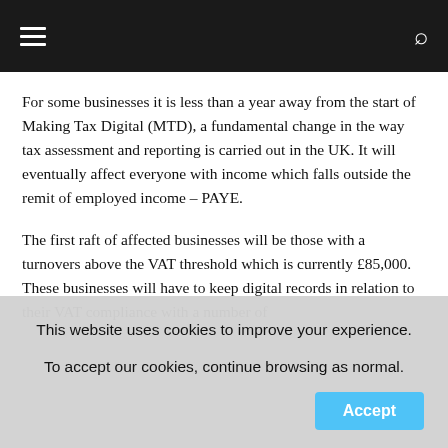Navigation bar with menu and search icons
For some businesses it is less than a year away from the start of Making Tax Digital (MTD), a fundamental change in the way tax assessment and reporting is carried out in the UK. It will eventually affect everyone with income which falls outside the remit of employed income – PAYE.
The first raft of affected businesses will be those with a turnovers above the VAT threshold which is currently £85,000. These businesses will have to keep digital records in relation to their VAT compliance with a number of…
This website uses cookies to improve your experience.
To accept our cookies, continue browsing as normal.